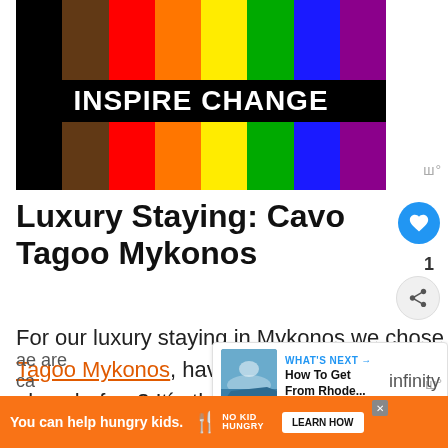[Figure (illustration): Inspire Change graphic with rainbow/progress pride flag color stripes and bold white text 'INSPIRE CHANGE' on black background]
Luxury Staying: Cavo Tagoo Mykonos
For our luxury staying in Mykonos we chose Cavo Tagoo Mykonos, have you ever heard of this place before? It´s the most popular
[Figure (screenshot): What's Next overlay widget showing 'How To Get From Rhode...' with a thumbnail image]
[Figure (other): Ad banner: You can help hungry kids. No Kid Hungry. LEARN HOW]